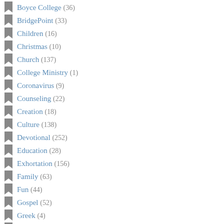Boyce College (36)
BridgePoint (33)
Children (16)
Christmas (10)
Church (137)
College Ministry (1)
Coronavirus (9)
Counseling (22)
Creation (18)
Culture (138)
Devotional (252)
Education (28)
Exhortation (156)
Family (63)
Fun (44)
Gospel (52)
Greek (4)
Guest Posts (12)
Hope (...)